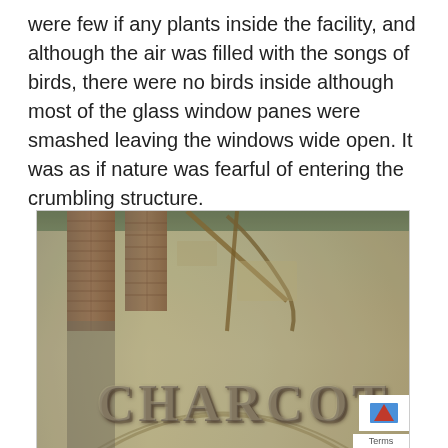were few if any plants inside the facility, and although the air was filled with the songs of birds, there were no birds inside although most of the glass window panes were smashed leaving the windows wide open. It was as if nature was fearful of entering the crumbling structure.
[Figure (photo): Close-up photograph of a weathered stone building facade with the word 'CHARCOT' carved or mounted in large letters. The building shows significant decay with moss, staining, and deteriorated plaster. Brick columns are visible in the background.]